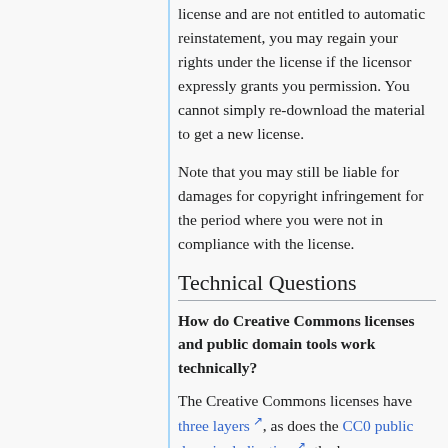license and are not entitled to automatic reinstatement, you may regain your rights under the license if the licensor expressly grants you permission. You cannot simply re-download the material to get a new license.
Note that you may still be liable for damages for copyright infringement for the period where you were not in compliance with the license.
Technical Questions
How do Creative Commons licenses and public domain tools work technically?
The Creative Commons licenses have three layers, as does the CC0 public domain dedication: the human-readable deed, the lawyer-readable legal